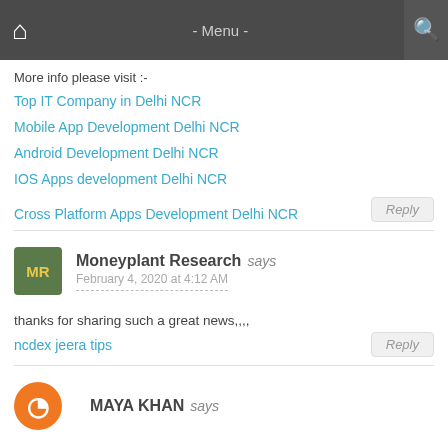- Menu -
More info please visit :-
Top IT Company in Delhi NCR
Mobile App Development Delhi NCR
Android Development Delhi NCR
IOS Apps development Delhi NCR
Cross Platform Apps Development Delhi NCR
Moneyplant Research says
February 4, 2020 at 4:12 AM
thanks for sharing such a great news,,,,
ncdex jeera tips
MAYA KHAN says